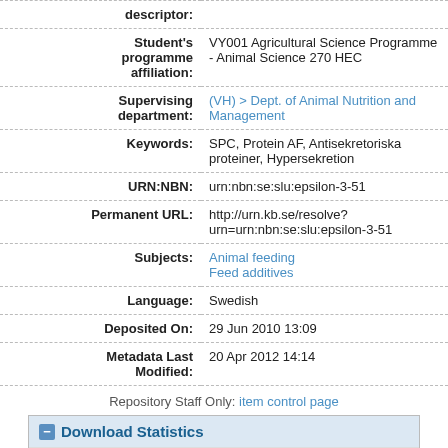| Field | Value |
| --- | --- |
| descriptor: |  |
| Student's programme affiliation: | VY001 Agricultural Science Programme - Animal Science 270 HEC |
| Supervising department: | (VH) > Dept. of Animal Nutrition and Management |
| Keywords: | SPC, Protein AF, Antisekretoriska proteiner, Hypersekretion |
| URN:NBN: | urn:nbn:se:slu:epsilon-3-51 |
| Permanent URL: | http://urn.kb.se/resolve?urn=urn:nbn:se:slu:epsilon-3-51 |
| Subjects: | Animal feeding
Feed additives |
| Language: | Swedish |
| Deposited On: | 29 Jun 2010 13:09 |
| Metadata Last Modified: | 20 Apr 2012 14:14 |
Repository Staff Only: item control page
Download Statistics